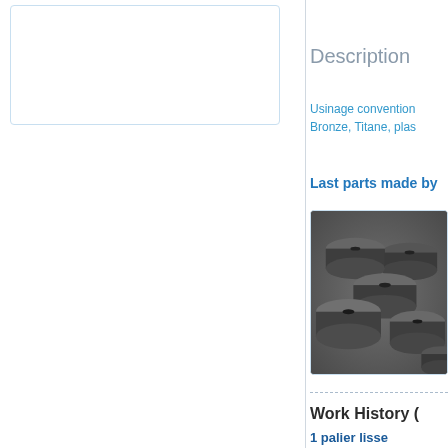[Figure (photo): White empty box / image placeholder with light blue border on left panel]
Description
Usinage convention Bronze, Titane, plas
Last parts made by
[Figure (photo): Photo of several dark grey machined disc-shaped metal parts arranged on a grey surface]
Work History (
1 palier lisse